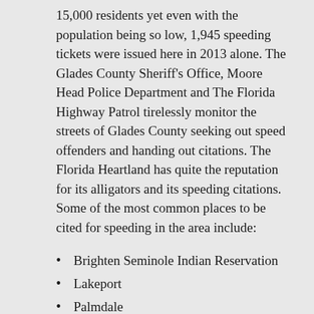15,000 residents yet even with the population being so low, 1,945 speeding tickets were issued here in 2013 alone. The Glades County Sheriff's Office, Moore Head Police Department and The Florida Highway Patrol tirelessly monitor the streets of Glades County seeking out speed offenders and handing out citations. The Florida Heartland has quite the reputation for its alligators and its speeding citations. Some of the most common places to be cited for speeding in the area include:
Brighten Seminole Indian Reservation
Lakeport
Palmdale
Moore Haven
US 27
Lake Okeechobee
Moore Haven Downtown Historic District
The Historic Red Barn
Glades County is home to the second largest lake in the